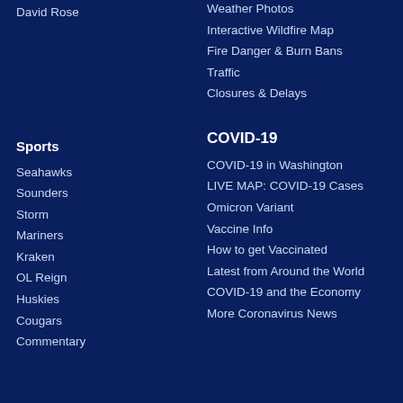David Rose
Weather Photos
Interactive Wildfire Map
Fire Danger & Burn Bans
Traffic
Closures & Delays
Sports
COVID-19
Seahawks
Sounders
Storm
Mariners
Kraken
OL Reign
Huskies
Cougars
Commentary
COVID-19 in Washington
LIVE MAP: COVID-19 Cases
Omicron Variant
Vaccine Info
How to get Vaccinated
Latest from Around the World
COVID-19 and the Economy
More Coronavirus News